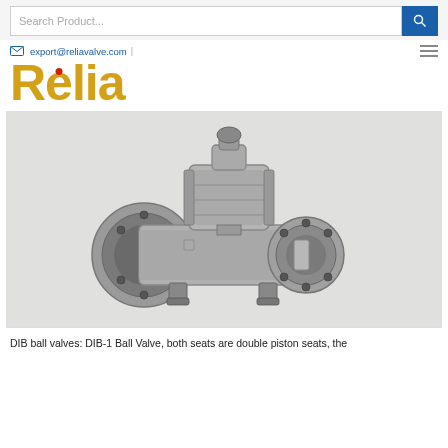Search Product...
export@reliavalve.com
Relia
[Figure (photo): Industrial DIB ball valve with flanged ends, trunnion mounted, stainless steel body with actuator on top]
DIB ball valves: DIB-1 Ball Valve, both seats are double piston seats, the